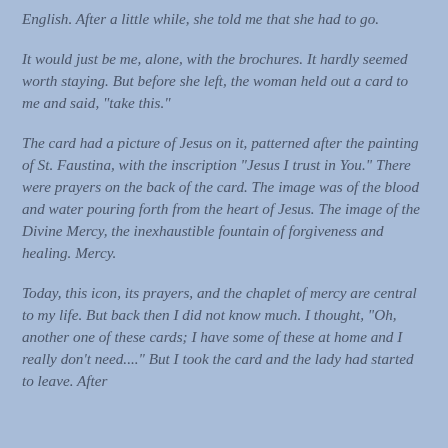English. After a little while, she told me that she had to go.
It would just be me, alone, with the brochures. It hardly seemed worth staying. But before she left, the woman held out a card to me and said, "take this."
The card had a picture of Jesus on it, patterned after the painting of St. Faustina, with the inscription "Jesus I trust in You." There were prayers on the back of the card. The image was of the blood and water pouring forth from the heart of Jesus. The image of the Divine Mercy, the inexhaustible fountain of forgiveness and healing. Mercy.
Today, this icon, its prayers, and the chaplet of mercy are central to my life. But back then I did not know much. I thought, "Oh, another one of these cards; I have some of these at home and I really don't need...." But I took the card and the lady had started to leave. After...